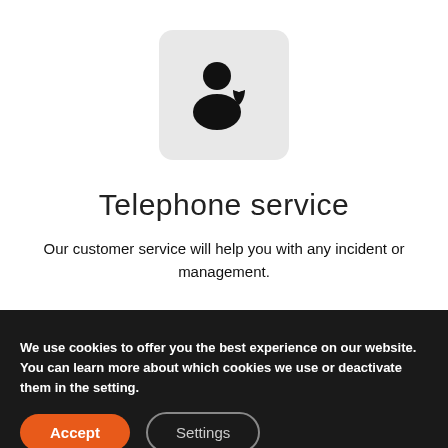[Figure (illustration): A person silhouette with a shield badge icon on a light gray rounded square background, representing a protected user or telephone service.]
Telephone service
Our customer service will help you with any incident or management.
We use cookies to offer you the best experience on our website. You can learn more about which cookies we use or deactivate them in the setting.
Accept
Settings